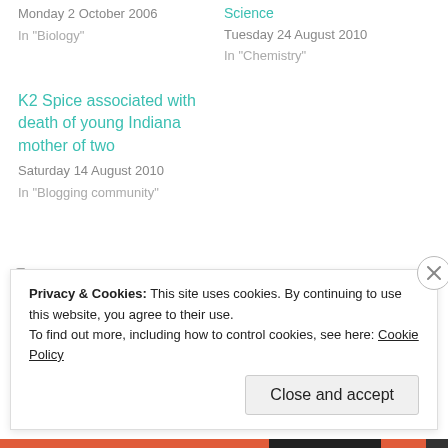Monday 2 October 2006
In "Biology"
Science
Tuesday 24 August 2010
In "Chemistry"
K2 Spice associated with death of young Indiana mother of two
Saturday 14 August 2010
In "Blogging community"
Pharmacology, Science Comes Alive, Uncategorized
Privacy & Cookies: This site uses cookies. By continuing to use this website, you agree to their use.
To find out more, including how to control cookies, see here: Cookie Policy
Close and accept